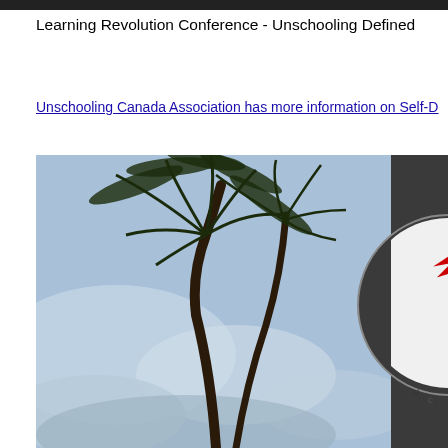Learning Revolution Conference - Unschooling Defined
Unschooling Canada Association has more information on Self-D...
[Figure (photo): A tall palm tree photographed from below against a cloudy blue sky, with a partial circular logo featuring a red maple leaf on the right side against a dark grey background.]